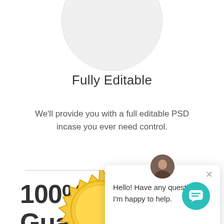[Figure (illustration): Partial circle/avatar placeholder at top of page, light gray]
Fully Editable
We'll provide you with a full editable PSD incase you ever need control.
[Figure (illustration): Chat popup overlay with avatar photo and message: Hello! Have any questions? I'm happy to help. With X close button and teal chat button.]
100% Money Back Guarantee
[Figure (illustration): Gold seal/badge partially visible at bottom of page]